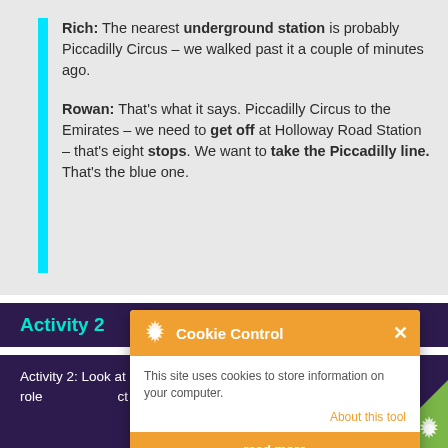Rich: The nearest underground station is probably Piccadilly Circus – we walked past it a couple of minutes ago.

Rowan: That's what it says. Piccadilly Circus to the Emirates – we need to get off at Holloway Road Station – that's eight stops. We want to take the Piccadilly line. That's the blue one.
Activity 2
Activity 2: Look at s[...] in this part of the role[...] ct one to complete ea[...]
[Figure (screenshot): Cookie Control popup overlay with orange header containing gear icon and X button, white body with text 'This site uses cookies to store information on your computer.' and 'About this tool' link, orange 'read more' button at bottom]